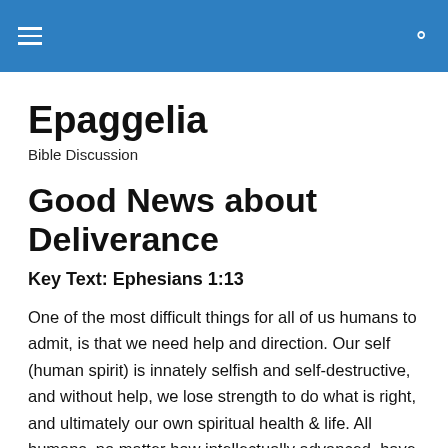Epaggelia — navigation header
Epaggelia
Bible Discussion
Good News about Deliverance
Key Text: Ephesians 1:13
One of the most difficult things for all of us humans to admit, is that we need help and direction. Our self (human spirit) is innately selfish and self-destructive, and without help, we lose strength to do what is right, and ultimately our own spiritual health & life. All humans, no matter how intellectually advanced, have a tendency to be our own